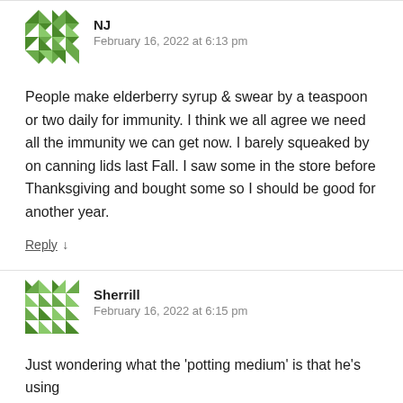[Figure (illustration): Green geometric quilt-pattern avatar for user NJ]
NJ
February 16, 2022 at 6:13 pm
People make elderberry syrup & swear by a teaspoon or two daily for immunity. I think we all agree we need all the immunity we can get now. I barely squeaked by on canning lids last Fall. I saw some in the store before Thanksgiving and bought some so I should be good for another year.
Reply ↓
[Figure (illustration): Green geometric quilt-pattern avatar for user Sherrill]
Sherrill
February 16, 2022 at 6:15 pm
Just wondering what the 'potting medium' is that he's using